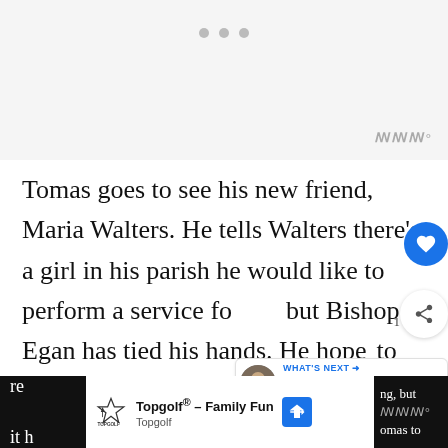[Figure (screenshot): Top area with grey background, three grey navigation dots, and a stylized wordmark in the top-right corner]
Tomas goes to see his new friend, Maria Walters. He tells Walters there's a girl in his parish he would like to perform a service fo but Bishop Egan has tied his hands. He hope to take his case to the visiting Cardinal. Mr. Walters questions if the service Tom to perform is the right thing, and Tomas
[Figure (screenshot): Bottom advertisement bar for Topgolf - Family Fun, with overlaid text fragments from the article]
[Figure (infographic): What's Next callout showing Top 10 Richest Actors in th...]